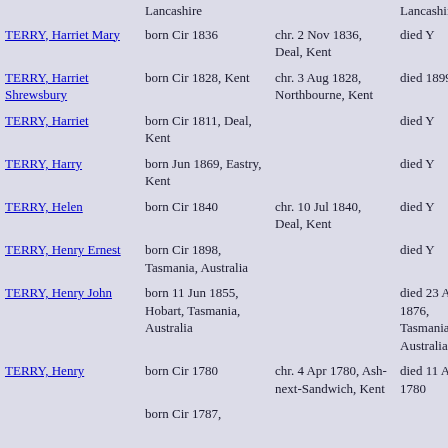| Name | Born | Christened | Died |
| --- | --- | --- | --- |
|  | Lancashire |  | Lancashire |
| TERRY, Harriet Mary | born Cir 1836 | chr. 2 Nov 1836, Deal, Kent | died Y |
| TERRY, Harriet Shrewsbury | born Cir 1828, Kent | chr. 3 Aug 1828, Northbourne, Kent | died 1899 |
| TERRY, Harriet | born Cir 1811, Deal, Kent |  | died Y |
| TERRY, Harry | born Jun 1869, Eastry, Kent |  | died Y |
| TERRY, Helen | born Cir 1840 | chr. 10 Jul 1840, Deal, Kent | died Y |
| TERRY, Henry Ernest | born Cir 1898, Tasmania, Australia |  | died Y |
| TERRY, Henry John | born 11 Jun 1855, Hobart, Tasmania, Australia |  | died 23 Aug 1876, Tasmania, Australia |
| TERRY, Henry | born Cir 1780 | chr. 4 Apr 1780, Ash-next-Sandwich, Kent | died 11 Apr 1780 |
|  | born Cir 1787, |  |  |